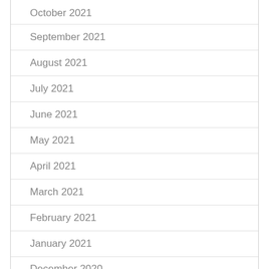October 2021
September 2021
August 2021
July 2021
June 2021
May 2021
April 2021
March 2021
February 2021
January 2021
December 2020